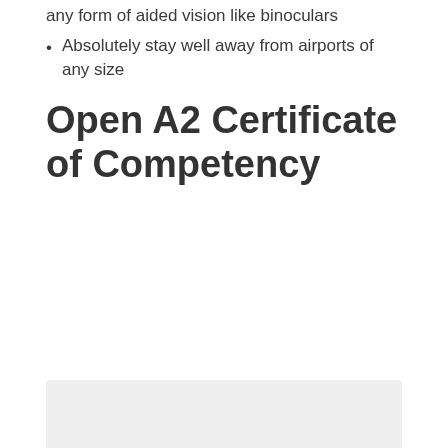any form of aided vision like binoculars
Absolutely stay well away from airports of any size
Open A2 Certificate of Competency